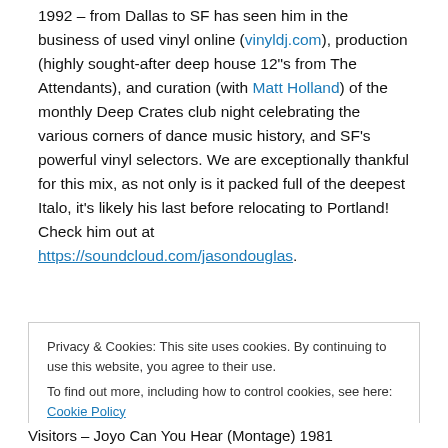1992 – from Dallas to SF has seen him in the business of used vinyl online (vinyldj.com), production (highly sought-after deep house 12"s from The Attendants), and curation (with Matt Holland) of the monthly Deep Crates club night celebrating the various corners of dance music history, and SF's powerful vinyl selectors. We are exceptionally thankful for this mix, as not only is it packed full of the deepest Italo, it's likely his last before relocating to Portland! Check him out at https://soundcloud.com/jasondouglas.
Privacy & Cookies: This site uses cookies. By continuing to use this website, you agree to their use. To find out more, including how to control cookies, see here: Cookie Policy
Visitors – Joyo Can You Hear (Montage) 1981